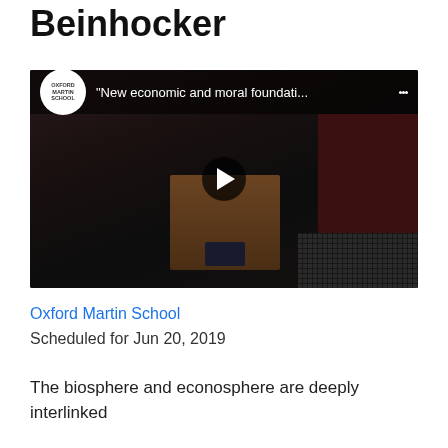Beinhocker
[Figure (screenshot): YouTube video thumbnail showing a speaker at a podium with Oxford Martin School branding. Video title: "New economic and moral foundati..."]
Oxford Martin School
Scheduled for Jun 20, 2019
The biosphere and econosphere are deeply interlinked and by the...